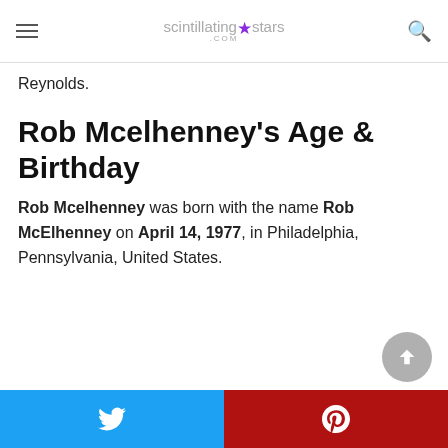scintillating★stars.com
Reynolds.
Rob Mcelhenney's Age & Birthday
Rob Mcelhenney was born with the name Rob McElhenney on April 14, 1977, in Philadelphia, Pennsylvania, United States.
Twitter | Pinterest share buttons